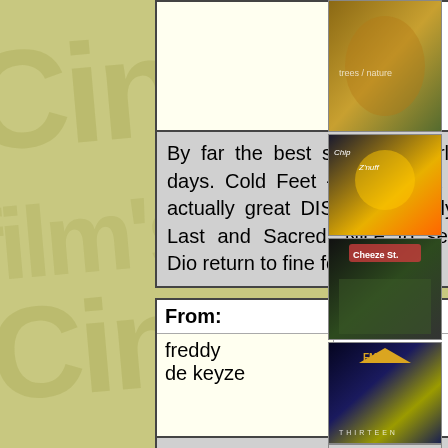2002 at 10:40
By far the best since his early days. Cold Feet - great track - actually great DISC since Holy, Last and Sacred. Nice to see Dio return to fine form.
| From: | Date: |
| --- | --- |
| freddy de keyze | August 24, 2002 at 6:00 |
This is indeed a good Dio CD, not a classic one.
[Figure (photo): Album cover 1 - nature/trees with golden tones]
[Figure (photo): Album cover - Chip Z'Nuff with sunflower, Chip Z'Nuff text]
[Figure (photo): Album cover - Cheeze St. band photo, dark background with band name logo]
[Figure (photo): Album cover - FM Thirteen, haunted house image with FM logo]
[Figure (photo): Album cover - The Truth Comes... partial text visible at bottom]